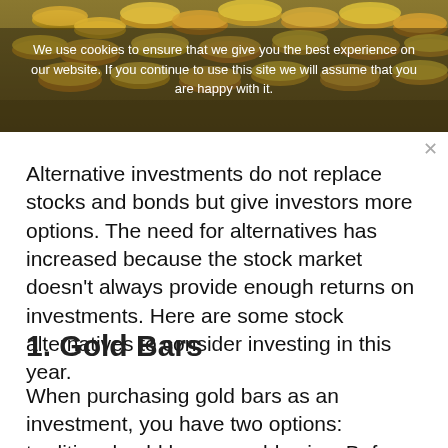[Figure (photo): Photo of gold coins stacked on a surface, golden tones]
We use cookies to ensure that we give you the best experience on our website. If you continue to use this site we will assume that you are happy with it.
Alternative investments do not replace stocks and bonds but give investors more options. The need for alternatives has increased because the stock market doesn't always provide enough returns on investments. Here are some stock alternatives to consider investing in this year.
1. Gold Bars
When purchasing gold bars as an investment, you have two options: traditional gold bars or gold coins. Before you choose between the two gold options, keep in mind that a gold coin and a gold bar are not the same things. You should also be aware that gold bars are all the same size.